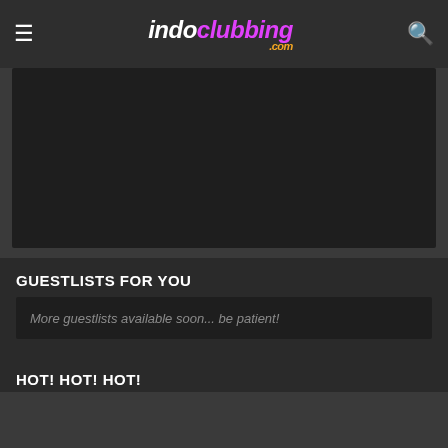indoclubbing.com
[Figure (other): Dark banner image area]
GUESTLISTS FOR YOU
More guestlists available soon... be patient!
HOT! HOT! HOT!
POLL